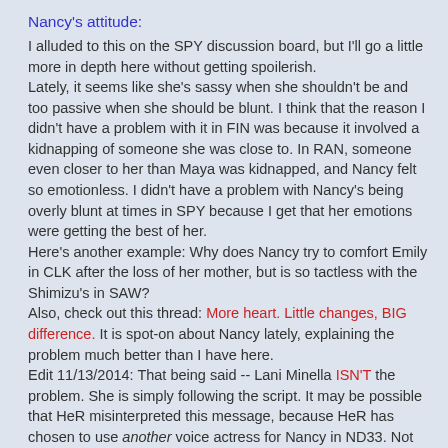Nancy's attitude:
I alluded to this on the SPY discussion board, but I'll go a little more in depth here without getting spoilerish.
Lately, it seems like she's sassy when she shouldn't be and too passive when she should be blunt. I think that the reason I didn't have a problem with it in FIN was because it involved a kidnapping of someone she was close to. In RAN, someone even closer to her than Maya was kidnapped, and Nancy felt so emotionless. I didn't have a problem with Nancy's being overly blunt at times in SPY because I get that her emotions were getting the best of her.
Here's another example: Why does Nancy try to comfort Emily in CLK after the loss of her mother, but is so tactless with the Shimizu's in SAW?
Also, check out this thread: More heart. Little changes, BIG difference. It is spot-on about Nancy lately, explaining the problem much better than I have here.
Edit 11/13/2014: That being said -- Lani Minella ISN'T the problem. She is simply following the script. It may be possible that HeR misinterpreted this message, because HeR has chosen to use another voice actress for Nancy in ND33. Not only do we want the old games back, we don't want Lani to leave! This had nothing to do with Lani! We love her version of Nancy. Please keep her. If someone reading this would like to support the cause, here is a link to the petition:
Petition to Keep Lani Minella as Nancy's Voice.
Snooping//Sleuthing
I think a big part of snooping and sleuthing is what all we can do in a location, not just looking through people's things. We also didn't get to